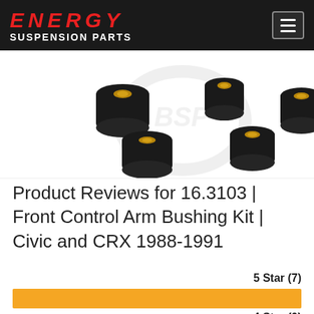ENERGY SUSPENSION PARTS
[Figure (photo): Product photo showing multiple black rubber/polyurethane control arm bushings with brass/gold metal sleeves, arranged on a white background with a faint watermark logo]
Product Reviews for 16.3103 | Front Control Arm Bushing Kit | Civic and CRX 1988-1991
5 Star (7)
[Figure (bar-chart): Orange filled bar representing 5-star reviews (7 out of 7 total, 100% fill)]
4 Star (0)